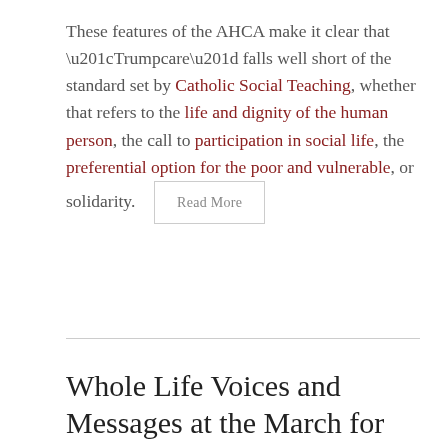These features of the AHCA make it clear that “Trumpcare” falls well short of the standard set by Catholic Social Teaching, whether that refers to the life and dignity of the human person, the call to participation in social life, the preferential option for the poor and vulnerable, or solidarity.
Whole Life Voices and Messages at the March for